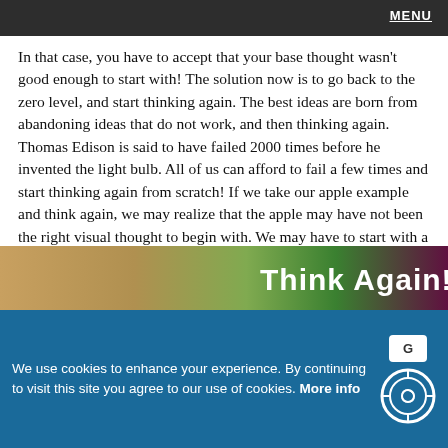MENU
In that case, you have to accept that your base thought wasn't good enough to start with! The solution now is to go back to the zero level, and start thinking again. The best ideas are born from abandoning ideas that do not work, and then thinking again. Thomas Edison is said to have failed 2000 times before he invented the light bulb. All of us can afford to fail a few times and start thinking again from scratch! If we take our apple example and think again, we may realize that the apple may have not been the right visual thought to begin with. We may have to start with a new thought, and evolve in that newer direction to succeed now.
[Figure (photo): Colorful image strip with text overlay reading 'Think Again!']
We use cookies to enhance your experience. By continuing to visit this site you agree to our use of cookies. More info